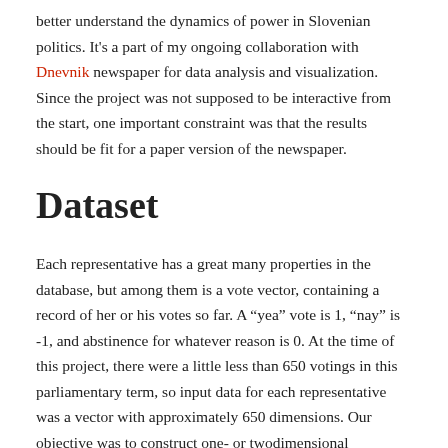better understand the dynamics of power in Slovenian politics. It's a part of my ongoing collaboration with Dnevnik newspaper for data analysis and visualization. Since the project was not supposed to be interactive from the start, one important constraint was that the results should be fit for a paper version of the newspaper.
Dataset
Each representative has a great many properties in the database, but among them is a vote vector, containing a record of her or his votes so far. A “yea” vote is 1, “nay” is -1, and abstinence for whatever reason is 0. At the time of this project, there were a little less than 650 votings in this parliamentary term, so input data for each representative was a vector with approximately 650 dimensions. Our objective was to construct one- or twodimensional visualization, which would hopefully confirm our existing knowledge about alliances between parties and individuals in the parliament, and, if possible,